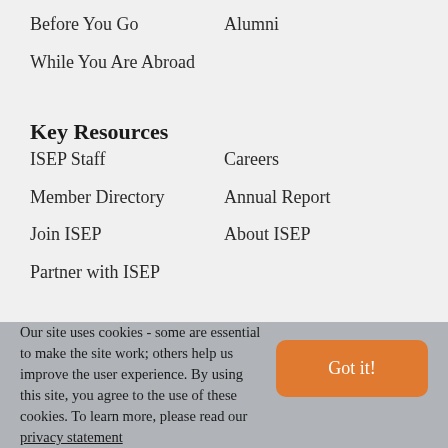Before You Go
Alumni
While You Are Abroad
Key Resources
ISEP Staff
Careers
Member Directory
Annual Report
Join ISEP
About ISEP
Partner with ISEP
Our site uses cookies - some are essential to make the site work; others help us improve the user experience. By using this site, you agree to the use of these cookies. To learn more, please read our privacy statement